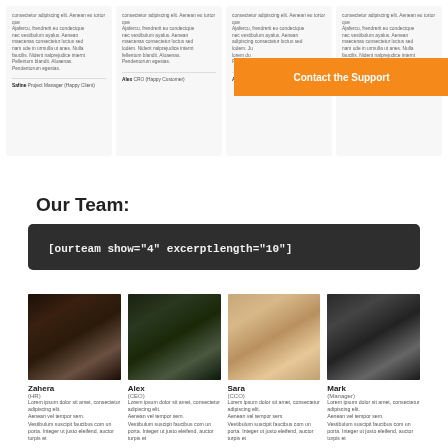[Figure (screenshot): Four testimonial cards in a row with lorem ipsum text and author names: Safine (Project Manager, Happy Client), Alex (CRO, Happy Customer), Alisa (Project Manager, Happy Client), Bernad. Third card has an orange 'Contact the Support' overlay button.]
Our Team:
[ourteam show="4" excerptlength="10"]
[Figure (photo): Four team member photos: Zahera (HR), Alex (CEO), Sara (CCO), Mark (Manager), each with Lorem ipsum bio text below.]
Zahera
(HR)
Lorem ipsum dolor sit amet, consectetur adipiscing elit. Aenean vel tempor sem. Vestibulum suscipit faucibus com un porta. Integer ut justo eleifend, auctor turpis et
Alex
(CEO)
Lorem ipsum dolor sit amet, consectetur adipiscing elit. Aenean vel tempor sem. Vestibulum suscipit faucibus com un porta. Integer ut justo eleifend, auctor turpis et
Sara
(CCO)
Lorem ipsum dolor sit amet, consectetur adipiscing elit. Aenean vel tempor sem. Vestibulum suscipit faucibus com un porta. Integer ut justo eleifend, auctor turpis et
Mark
(Manager)
Lorem ipsum dolor sit amet, consectetur adipiscing elit. Aenean vel tempor sem. Vestibulum suscipit faucibus com un porta. Integer ut justo eleifend, auctor turpis et